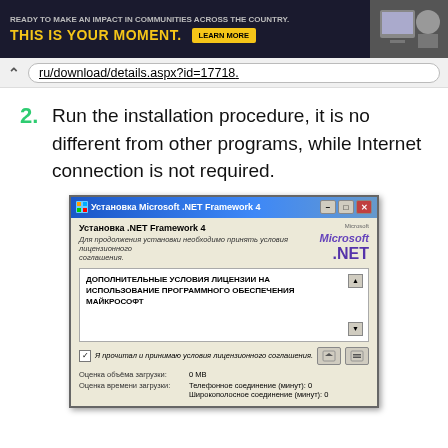[Figure (screenshot): Advertisement banner: 'Ready to make an impact in communities across the country. THIS IS YOUR MOMENT. LEARN MORE' with a photo of a person at a computer]
ru/download/details.aspx?id=17718.
2. Run the installation procedure, it is no different from other programs, while Internet connection is not required.
[Figure (screenshot): Microsoft .NET Framework 4 installation dialog in Russian, showing license agreement text 'ДОПОЛНИТЕЛЬНЫЕ УСЛОВИЯ ЛИЦЕНЗИИ НА ИСПОЛЬЗОВАНИЕ ПРОГРАММНОГО ОБЕСПЕЧЕНИЯ МАЙКРОСОФТ' with checkbox 'Я прочитал и принимаю условия лицензионного соглашения.' and download size info showing 0 MB]